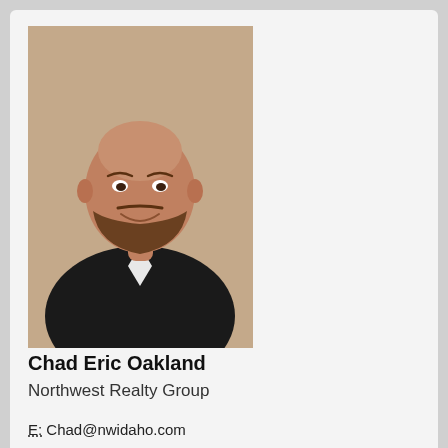[Figure (photo): Headshot photo of Chad Eric Oakland, a bald man with a beard, wearing a dark jacket and smiling]
Chad Eric Oakland
Northwest Realty Group
E: Chad@nwidaho.com
P: 208-664-4200
Contact Agent
Information displayed on this website on listings other than those of the website owner is displayed with permission of the Coeur d'Alene MLS and Broker/Participants of the Coeur d'Alene MLS. IDX information is provided exclusively for consumers' personal, non-commercial use, and may not be used for any purpose other than to identify prospective properties consumers may